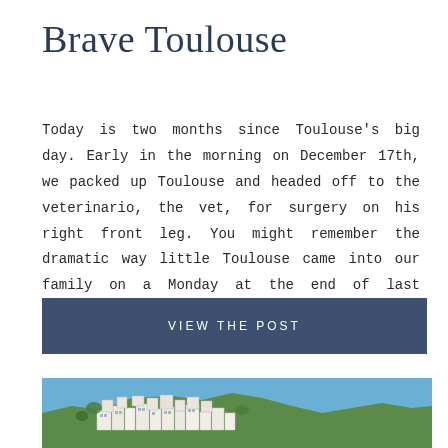Brave Toulouse
Today is two months since Toulouse's big day. Early in the morning on December 17th, we packed up Toulouse and headed off to the veterinario, the vet, for surgery on his right front leg. You might remember the dramatic way little Toulouse came into our family on a Monday at the end of last summer. ...
VIEW THE POST
[Figure (photo): Aerial view of white buildings on a hillside along the Amalfi coast with blue sky background]